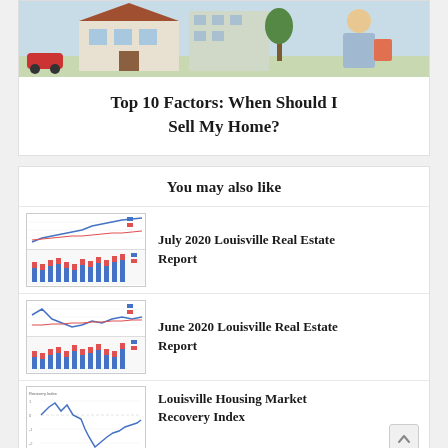[Figure (photo): Top portion of a real estate related photo showing a house, car, and people outdoors]
Top 10 Factors: When Should I Sell My Home?
You may also like
[Figure (screenshot): Thumbnail for July 2020 Louisville Real Estate Report showing line chart and bar chart]
July 2020 Louisville Real Estate Report
[Figure (screenshot): Thumbnail for June 2020 Louisville Real Estate Report showing line chart and bar chart]
June 2020 Louisville Real Estate Report
[Figure (line-chart): Thumbnail for Louisville Housing Market Recovery Index showing a line chart with recovery index values]
Louisville Housing Market Recovery Index